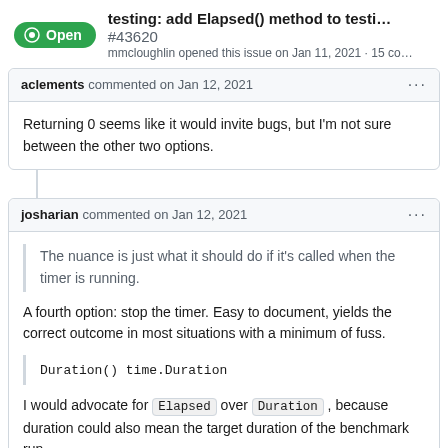testing: add Elapsed() method to testi... #43620
mmcloughlin opened this issue on Jan 11, 2021 · 15 co...
aclements commented on Jan 12, 2021
Returning 0 seems like it would invite bugs, but I'm not sure between the other two options.
josharian commented on Jan 12, 2021
The nuance is just what it should do if it's called when the timer is running.
A fourth option: stop the timer. Easy to document, yields the correct outcome in most situations with a minimum of fuss.
Duration() time.Duration
I would advocate for Elapsed over Duration , because duration could also mean the target duration of the benchmark run.